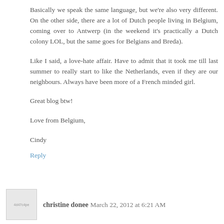Basically we speak the same language, but we're also very different. On the other side, there are a lot of Dutch people living in Belgium, coming over to Antwerp (in the weekend it's practically a Dutch colony LOL, but the same goes for Belgians and Breda).
Like I said, a love-hate affair. Have to admit that it took me till last summer to really start to like the Netherlands, even if they are our neighbours. Always have been more of a French minded girl.
Great blog btw!
Love from Belgium,
Cindy
Reply
christine donee  March 22, 2012 at 6:21 AM